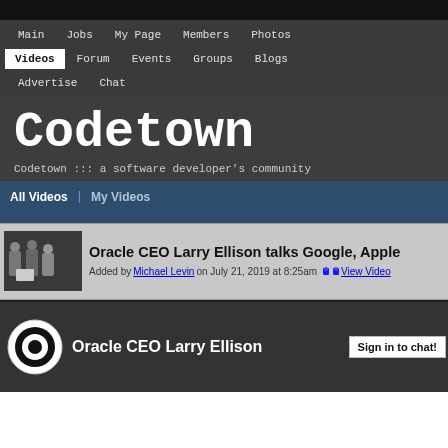Main  Jobs  My Page  Members  Photos  Videos  Forum  Events  Groups  Blogs  Advertise  Chat
Codetown
Codetown ::: a software developer's community
All Videos  My Videos
Oracle CEO Larry Ellison talks Google, Apple — Added by Michael Levin on July 21, 2019 at 8:25am  View Video
[Figure (screenshot): Video preview showing CBS logo and Oracle CEO Larry Ellison with Sign in to chat! overlay]
Oracle CEO Larry Ellison